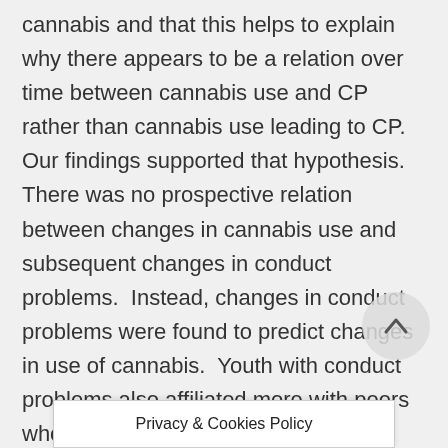cannabis and that this helps to explain why there appears to be a relation over time between cannabis use and CP rather than cannabis use leading to CP. Our findings supported that hypothesis.  There was no prospective relation between changes in cannabis use and subsequent changes in conduct problems.  Instead, changes in conduct problems were found to predict changes in use of cannabis.  Youth with conduct problems also affiliated more with peers who used cannabis, adding further to their own use.  There was also no evidence that youth who used cannabis sought out peers who used it apart from the effects of CP.  Finally, both use of cannabis and  conduct problems predic... shove by f...
[Figure (other): Scroll-to-top circular button with upward arrow icon]
Privacy & Cookies Policy